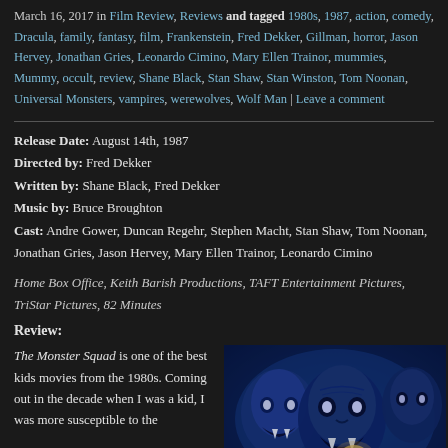March 16, 2017 in Film Review, Reviews and tagged 1980s, 1987, action, comedy, Dracula, family, fantasy, film, Frankenstein, Fred Dekker, Gillman, horror, Jason Hervey, Jonathan Gries, Leonardo Cimino, Mary Ellen Trainor, mummies, Mummy, occult, review, Shane Black, Stan Shaw, Stan Winston, Tom Noonan, Universal Monsters, vampires, werewolves, Wolf Man | Leave a comment
Release Date: August 14th, 1987
Directed by: Fred Dekker
Written by: Shane Black, Fred Dekker
Music by: Bruce Broughton
Cast: Andre Gower, Duncan Regehr, Stephen Macht, Stan Shaw, Tom Noonan, Jonathan Gries, Jason Hervey, Mary Ellen Trainor, Leonardo Cimino
Home Box Office, Keith Barish Productions, TAFT Entertainment Pictures, TriStar Pictures, 82 Minutes
Review:
The Monster Squad is one of the best kids movies from the 1980s. Coming out in the decade when I was a kid, I was more susceptible to the
[Figure (photo): Movie poster or still from The Monster Squad showing blue-tinted monster faces including a vampire and a mummy-like creature]